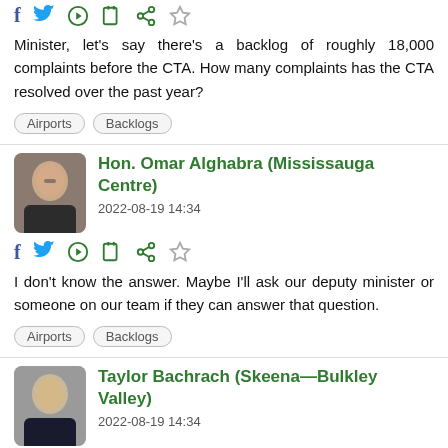[Figure (other): Social media share icons: Facebook, Twitter, Play, Clip, Share, Star]
Minister, let's say there's a backlog of roughly 18,000 complaints before the CTA. How many complaints has the CTA resolved over the past year?
Airports
Backlogs
Hon. Omar Alghabra (Mississauga Centre)
2022-08-19 14:34
[Figure (other): Social media share icons: Facebook, Twitter, Play, Clip, Share, Star]
I don't know the answer. Maybe I'll ask our deputy minister or someone on our team if they can answer that question.
Airports
Backlogs
Taylor Bachrach (Skeena—Bulkley Valley)
2022-08-19 14:34